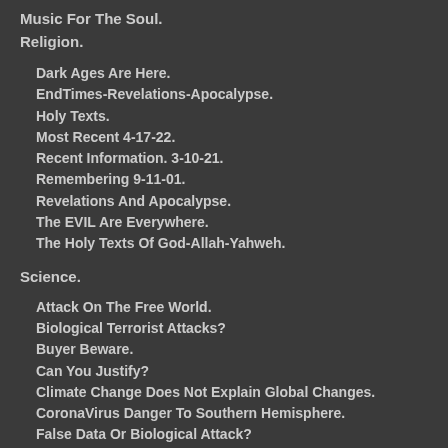Music For The Soul.
Religion.
Dark Ages Are Here.
EndTimes-Revelations-Apocalypse.
Holy Texts.
Most Recent 4-17-22.
Recent Information. 3-10-21.
Remembering 9-11-01.
Revelations And Apocalypse.
The EVIL Are Everywhere.
The Holy Texts Of God-Allah-Yahweh.
Science.
Attack On The Free World.
Biological Terrorist Attacks?
Buyer Beware.
Can You Justify?
Climate Change Does Not Explain Global Changes.
CoronaVirus Danger To Southern Hemisphere.
False Data Or Biological Attack?
Future Technology.
How Stupid Can They Be?